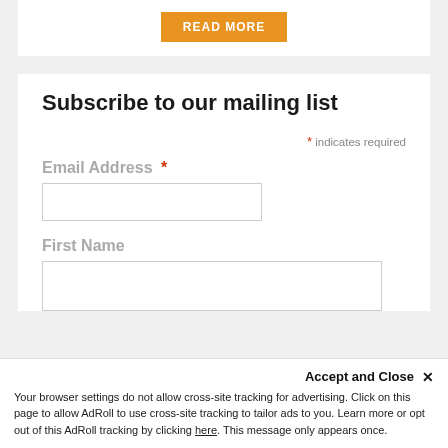READ MORE
Subscribe to our mailing list
* indicates required
Email Address *
First Name
Accept and Close ✕
Your browser settings do not allow cross-site tracking for advertising. Click on this page to allow AdRoll to use cross-site tracking to tailor ads to you. Learn more or opt out of this AdRoll tracking by clicking here. This message only appears once.